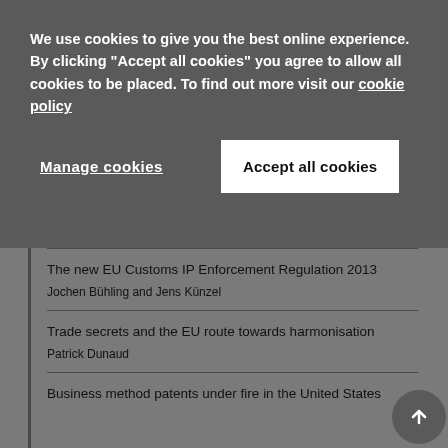We use cookies to give you the best online experience. By clicking "Accept all cookies" you agree to allow all cookies to be placed. To find out more visit our cookie policy
Manage cookies
Accept all cookies
The new EU Customs IP Enforcement Regulation 2013
Jochen Bühling and Jens Künzel
Trade secrets and the EU route towards harmonisation
Patrick Dunaud
Business method patents under fire in the United States